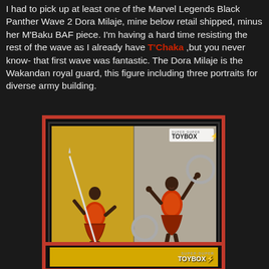I had to pick up at least one of the Marvel Legends Black Panther Wave 2 Dora Milaje, mine below retail shipped, minus her M'Baku BAF piece. I'm having a hard time resisting the rest of the wave as I already have T'Chaka ,but you never know- that first wave was fantastic. The Dora Milaje is the Wakandan royal guard, this figure including three portraits for diverse army building.
[Figure (photo): Two views of the Marvel Legends Dora Milaje action figure in red and orange costume, one pose with a spear and one with ring weapons, displayed against a gold and grey background with Super-Duper ToyBox logo watermark]
[Figure (photo): Partial view of another Marvel Legends figure packaging with Super-Duper ToyBox logo on gold background, partially cropped at bottom of page]